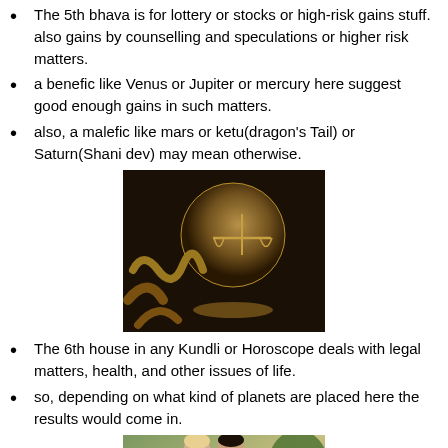The 5th bhava is for lottery or stocks or high-risk gains stuff. also gains by counselling and speculations or higher risk matters.
a benefic like Venus or Jupiter or mercury here suggest good enough gains in such matters.
also, a malefic like mars or ketu(dragon's Tail) or Saturn(Shani dev) may mean otherwise.
[Figure (photo): Sepia-toned image of scales of justice with globe and decorative elements]
The 6th house in any Kundli or Horoscope deals with legal matters, health, and other issues of life.
so, depending on what kind of planets are placed here the results would come in.
[Figure (photo): Photo of a bride and groom couple standing outdoors near a stone wall with greenery]
The 7th house in any Kundli or Horoscope deals with partnerships